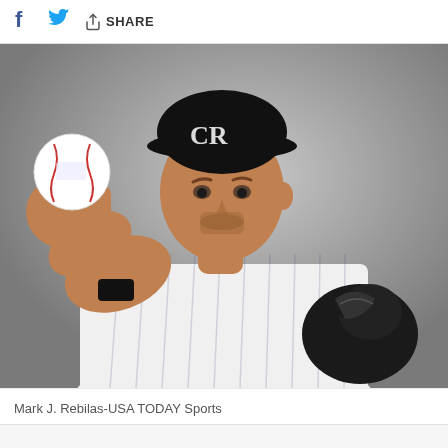f [Twitter] SHARE
[Figure (photo): Colorado Rockies baseball player in pinstripe uniform and black CR cap, holding a baseball toward the camera with his pitching hand, wearing a catcher's mitt on the other hand. Studio portrait on gray background.]
Mark J. Rebilas-USA TODAY Sports